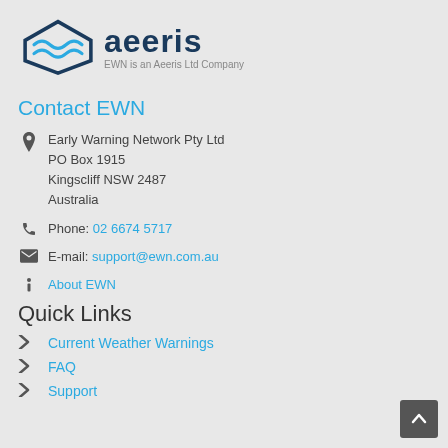[Figure (logo): Aeeris logo with hexagonal wave icon and text 'aeeris', tagline 'EWN is an Aeeris Ltd Company']
Contact EWN
Early Warning Network Pty Ltd
PO Box 1915
Kingscliff NSW 2487
Australia
Phone: 02 6674 5717
E-mail: support@ewn.com.au
About EWN
Quick Links
Current Weather Warnings
FAQ
Support